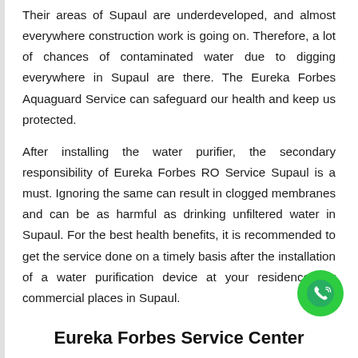Their areas of Supaul are underdeveloped, and almost everywhere construction work is going on. Therefore, a lot of chances of contaminated water due to digging everywhere in Supaul are there. The Eureka Forbes Aquaguard Service can safeguard our health and keep us protected.
After installing the water purifier, the secondary responsibility of Eureka Forbes RO Service Supaul is a must. Ignoring the same can result in clogged membranes and can be as harmful as drinking unfiltered water in Supaul. For the best health benefits, it is recommended to get the service done on a timely basis after the installation of a water purification device at your residences or commercial places in Supaul.
Eureka Forbes Service Center